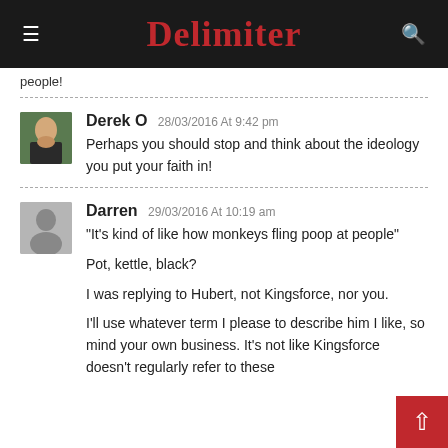Delimiter
people!
Derek O 28/03/2016 At 9:42 pm
Perhaps you should stop and think about the ideology you put your faith in!
Darren 29/03/2016 At 10:19 am
"It's kind of like how monkeys fling poop at people"
Pot, kettle, black?
I was replying to Hubert, not Kingsforce, nor you.
I'll use whatever term I please to describe him I like, so mind your own business. It's not like Kingsforce doesn't regularly refer to these